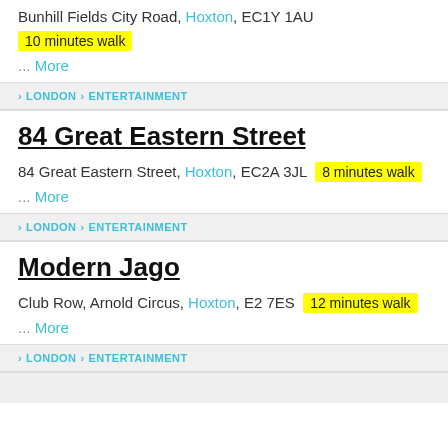Bunhill Fields City Road, Hoxton, EC1Y 1AU  10 minutes walk
... More
> LONDON > ENTERTAINMENT
84 Great Eastern Street
84 Great Eastern Street, Hoxton, EC2A 3JL  8 minutes walk
... More
> LONDON > ENTERTAINMENT
Modern Jago
Club Row, Arnold Circus, Hoxton, E2 7ES  12 minutes walk
... More
> LONDON > ENTERTAINMENT